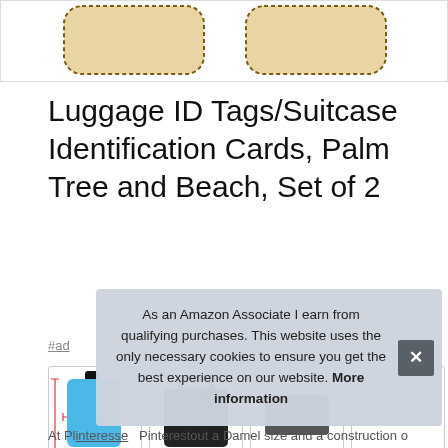[Figure (photo): Two luggage ID tags with dotted borders shown from above, tan/beige wooden-look material, partial view cropped at top.]
Luggage ID Tags/Suitcase Identification Cards, Palm Tree and Beach, Set of 2
#ad
[Figure (photo): Four product thumbnail images showing luggage tags and suitcases; first image shows a colorful luggage tag with dimension lines, second shows a dark suitcase, third shows a dark rectangular tag, fourth is partially visible.]
As an Amazon Associate I earn from qualifying purchases. This website uses the only necessary cookies to ensure you get the best experience on our website. More information
At Pinterest Pinterestout a Damel size and a construction of the